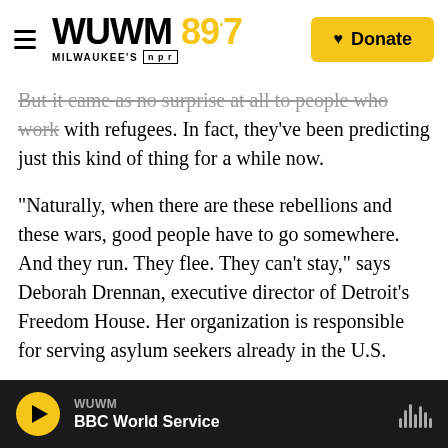WUWM 89.7 MILWAUKEE'S NPR | Donate
But it came as no surprise at all to people who work with refugees. In fact, they've been predicting just this kind of thing for a while now.
"Naturally, when there are these rebellions and these wars, good people have to go somewhere. And they run. They flee. They can't stay," says Deborah Drennan, executive director of Detroit's Freedom House. Her organization is responsible for serving asylum seekers already in the U.S.
In addition to neighboring countries and now, Europe — to which millions of Syrians have already fled — the U.S. is considered a logical destination
WUWM | BBC World Service